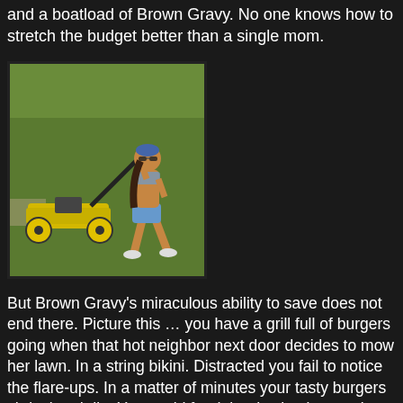and a boatload of Brown Gravy. No one knows how to stretch the budget better than a single mom.
[Figure (photo): A woman in a bikini top and denim shorts mowing a lawn with a yellow lawn mower, wearing sunglasses and a bandana.]
But Brown Gravy's miraculous ability to save does not end there. Picture this … you have a grill full of burgers going when that hot neighbor next door decides to mow her lawn. In a string bikini. Distracted you fail to notice the flare-ups. In a matter of minutes your tasty burgers shrivel and die. You could feed the dry, hockey puck like patties to the dog, but the game is about to start so you don't have to time to cook yourself more. What is a Meat Man to do? Easy, whip up a quick batch of brown gravy, pour the ambrosia over the burgers and all is well for everyone but Fido.